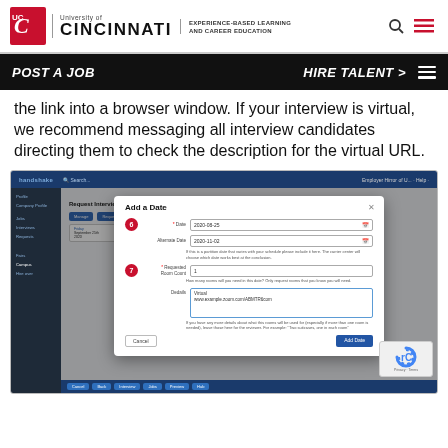University of Cincinnati | EXPERIENCE-BASED LEARNING AND CAREER EDUCATION
POST A JOB    HIRE TALENT >
the link into a browser window. If your interview is virtual, we recommend messaging all interview candidates directing them to check the description for the virtual URL.
[Figure (screenshot): Screenshot of Handshake platform showing 'Add a Date' modal dialog with fields for Date (2020-08-25), Alternate Date (2020-11-02), Required Room Count (step 6), and Details textarea showing 'Virtual' with a URL (step 7). Cancel and Add Date buttons at bottom.]